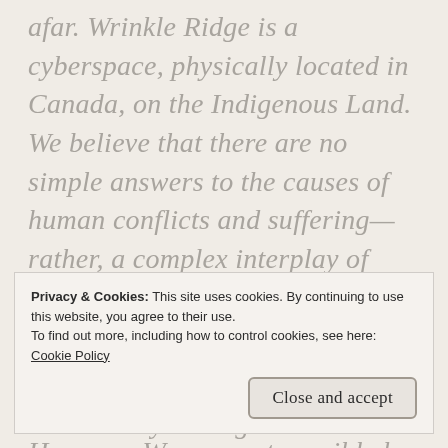afar. Wrinkle Ridge is a cyberspace, physically located in Canada, on the Indigenous Land. We believe that there are no simple answers to the causes of human conflicts and suffering—rather, a complex interplay of historical, social, political, and economic circumstances; and, likewise, there are no simple solutions to resolve them. However, War cannot possibly be one of those solutions. We all must strive to prevent it
Privacy & Cookies: This site uses cookies. By continuing to use this website, you agree to their use.
To find out more, including how to control cookies, see here:
Cookie Policy
Close and accept
certain, however, in order to achieve any lasting